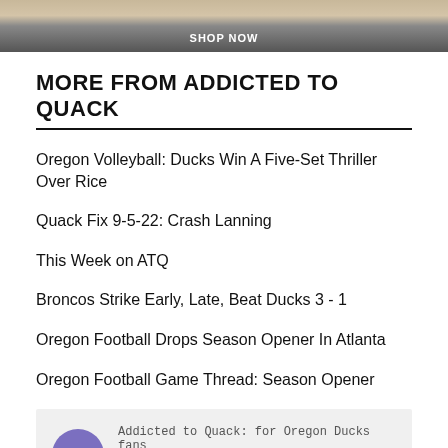[Figure (photo): Top banner image showing people with 'SHOP NOW' text overlay]
MORE FROM ADDICTED TO QUACK
Oregon Volleyball: Ducks Win A Five-Set Thriller Over Rice
Quack Fix 9-5-22: Crash Lanning
This Week on ATQ
Broncos Strike Early, Late, Beat Ducks 3 - 1
Oregon Football Drops Season Opener In Atlanta
Oregon Football Game Thread: Season Opener
Addicted to Quack: for Oregon Ducks fans
It Never Rains On This Podcast - 09-01-22
Adam Holland joins me to talk men's basketball recruiting and the Canada swing, plus some final...